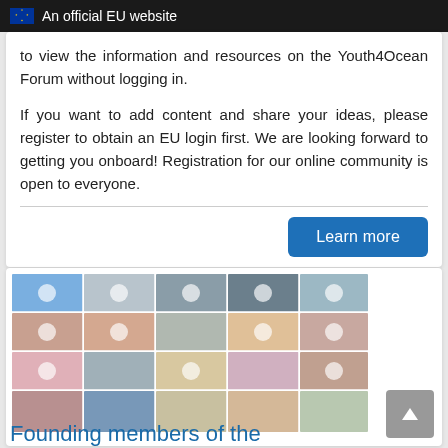An official EU website
to view the information and resources on the Youth4Ocean Forum without logging in.
If you want to add content and share your ideas, please register to obtain an EU login first. We are looking forward to getting you onboard! Registration for our online community is open to everyone.
[Figure (photo): Video call grid showing approximately 20 participants in an online meeting, founding members of the Youth4Ocean Forum]
Founding members of the